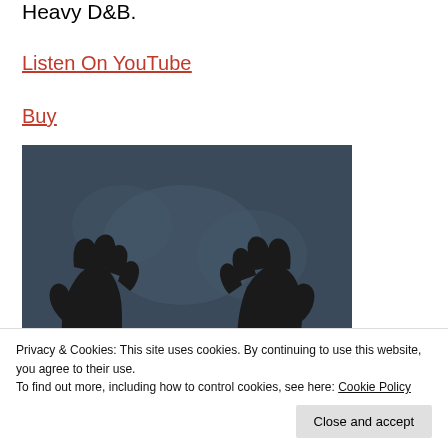Heavy D&B.
Listen On YouTube
Buy
[Figure (illustration): Painting of two black-gloved hands with orange dripping paint/substance rising from below against a dark blue background.]
Privacy & Cookies: This site uses cookies. By continuing to use this website, you agree to their use. To find out more, including how to control cookies, see here: Cookie Policy
Close and accept